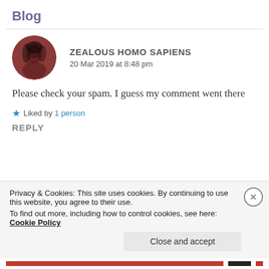Blog
ZEALOUS HOMO SAPIENS
20 Mar 2019 at 8:48 pm
Please check your spam. I guess my comment went there
★ Liked by 1 person
REPLY
Privacy & Cookies: This site uses cookies. By continuing to use this website, you agree to their use.
To find out more, including how to control cookies, see here: Cookie Policy
Close and accept